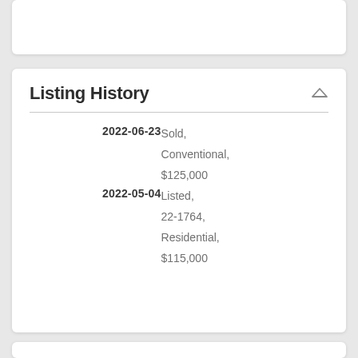Listing History
| Date | Details |
| --- | --- |
| 2022-06-23 | Sold, Conventional, $125,000 |
| 2022-05-04 | Listed, 22-1764, Residential, $115,000 |